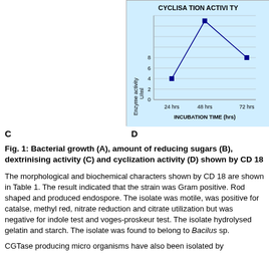[Figure (line-chart): CYCLISATION ACTIVITY]
C
D
Fig. 1: Bacterial growth (A), amount of reducing sugars (B), dextrinising activity (C) and cyclization activity (D) shown by CD 18
The morphological and biochemical characters shown by CD 18 are shown in Table 1. The result indicated that the strain was Gram positive. Rod shaped and produced endospore. The isolate was motile, was positive for catalse, methyl red, nitrate reduction and citrate utilization but was negative for indole test and voges-proskeur test. The isolate hydrolysed gelatin and starch. The isolate was found to belong to Bacilus sp.
CGTase producing micro organisms have also been isolated by